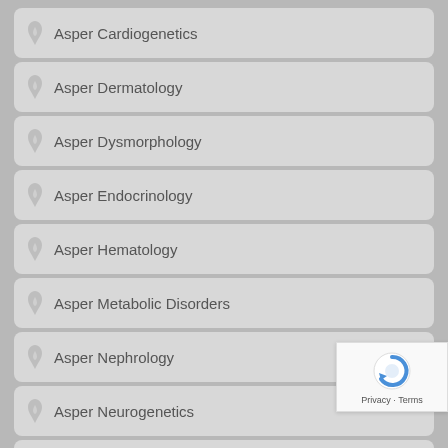Asper Cardiogenetics
Asper Dermatology
Asper Dysmorphology
Asper Endocrinology
Asper Hematology
Asper Metabolic Disorders
Asper Nephrology
Asper Neurogenetics
Asper Oncogenetics
Asper Ophthalmics
Asper Otogenetics
Asper Pharmacogenetics